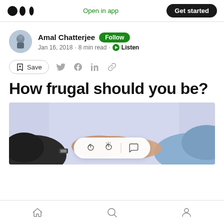Medium logo | Open in app | Get started
Amal Chatterjee · Follow · Jan 16, 2018 · 8 min read · Listen
Save (share icons: Twitter, Facebook, LinkedIn, link)
How frugal should you be?
[Figure (photo): Photo of two people shaking hands or clasping hands, one wearing a dark sleeve and one wearing a light blue shirt, with a lavender/white shirt in background. A reaction bar with clap and comment icons overlaid at the bottom center.]
Bottom navigation bar: Home, Search, Profile